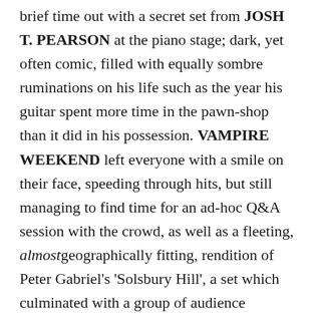brief time out with a secret set from JOSH T. PEARSON at the piano stage; dark, yet often comic, filled with equally sombre ruminations on his life such as the year his guitar spent more time in the pawn-shop than it did in his possession. VAMPIRE WEEKEND left everyone with a smile on their face, speeding through hits, but still managing to find time for an ad-hoc Q&A session with the crowd, as well as a fleeting, almost geographically fitting, rendition of Peter Gabriel's 'Solsbury Hill', a set which culminated with a group of audience members being invited on the stage to dance along to their final track – one popping wheelies in a wheelchair.